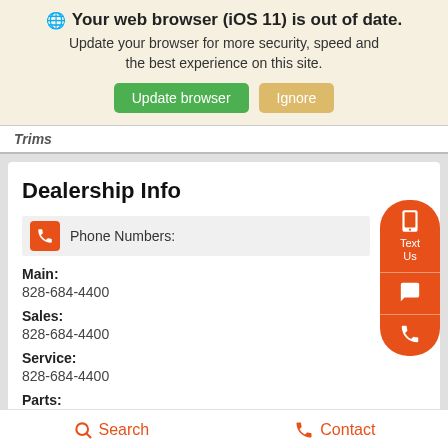Your web browser (iOS 11) is out of date. Update your browser for more security, speed and the best experience on this site.
Trims
Dealership Info
Phone Numbers:
Main:
828-684-4400
Sales:
828-684-4400
Service:
828-684-4400
Parts:
Search    Contact